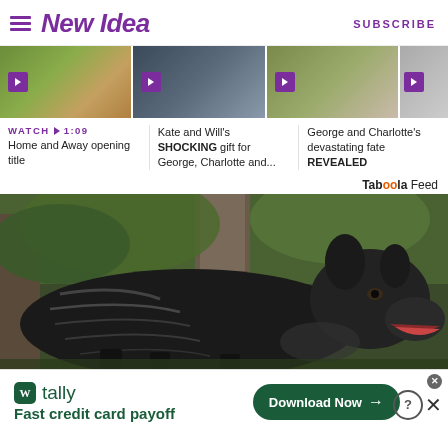New Idea | SUBSCRIBE
[Figure (screenshot): Video thumbnail strip with three visible video thumbnails and play buttons]
WATCH ▶ 1:09
Home and Away opening title
Kate and Will's SHOCKING gift for George, Charlotte and...
George and Charlotte's devastating fate REVEALED
Taboola Feed
[Figure (photo): Large black Cane Corso dog with brindle markings standing outdoors near trees]
[Figure (infographic): Tally app advertisement banner: W tally logo, Fast credit card payoff, Download Now button, close and help buttons]